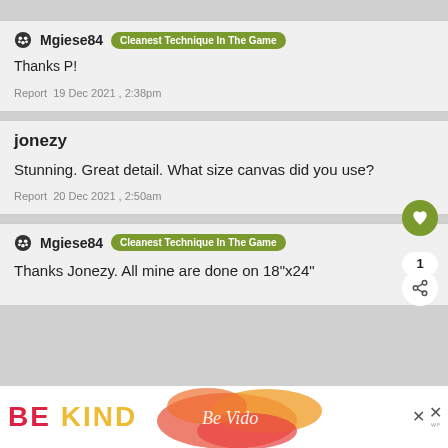Mgiese84 Cleanest Technique In The Game
Thanks P!
Report  19 Dec 2021 , 2:38pm
jonezy
Stunning. Great detail. What size canvas did you use?
Report  20 Dec 2021 , 2:50am
Mgiese84 Cleanest Technique In The Game
Thanks Jonezy. All mine are done on 18"x24"
[Figure (other): BE KIND advertisement banner with floral illustration and close buttons]